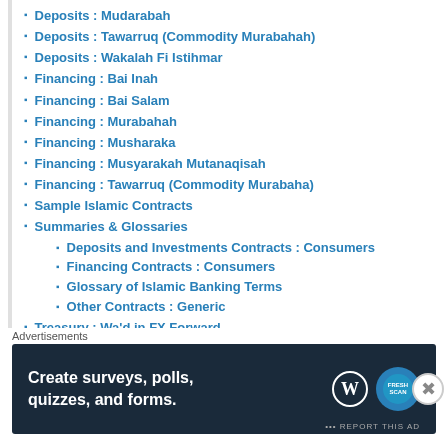Deposits : Mudarabah
Deposits : Tawarruq (Commodity Murabahah)
Deposits : Wakalah Fi Istihmar
Financing : Bai Inah
Financing : Bai Salam
Financing : Murabahah
Financing : Musharaka
Financing : Musyarakah Mutanaqisah
Financing : Tawarruq (Commodity Murabaha)
Sample Islamic Contracts
Summaries & Glossaries
Deposits and Investments Contracts : Consumers
Financing Contracts : Consumers
Glossary of Islamic Banking Terms
Other Contracts : Generic
Treasury : Wa'd in FX Forward
Treasury : Waad in Islamic Profit Rate Swap
Advertisements
[Figure (infographic): Advertisement banner: dark navy background with white bold text 'Create surveys, polls, quizzes, and forms.' with WordPress and FreshScan logos on the right.]